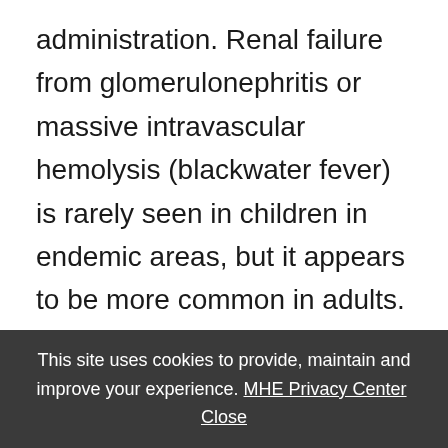administration. Renal failure from glomerulonephritis or massive intravascular hemolysis (blackwater fever) is rarely seen in children in endemic areas, but it appears to be more common in adults. It may occasionally be seen in nonimmune children. Circulatory collapse may be due to concurrent bacterial meningitis or sepsis, which should be ruled out in children with severe malaria. Abnormal bleeding is also an infrequent clinical problem in children with severe malaria.
This site uses cookies to provide, maintain and improve your experience. MHE Privacy Center  Close